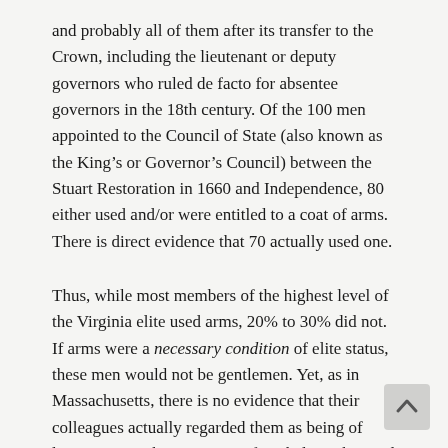and probably all of them after its transfer to the Crown, including the lieutenant or deputy governors who ruled de facto for absentee governors in the 18th century. Of the 100 men appointed to the Council of State (also known as the King’s or Governor’s Council) between the Stuart Restoration in 1660 and Independence, 80 either used and/or were entitled to a coat of arms. There is direct evidence that 70 actually used one.
Thus, while most members of the highest level of the Virginia elite used arms, 20% to 30% did not. If arms were a necessary condition of elite status, these men would not be gentlemen. Yet, as in Massachusetts, there is no evidence that their colleagues actually regarded them as being of lower status. The Harrisons of Berkeley, who used no coat of arms, were not deemed any less “gentle” than the arms-bearing Burwells, Ludwells, and Fairfaxes alongside whom they sat in